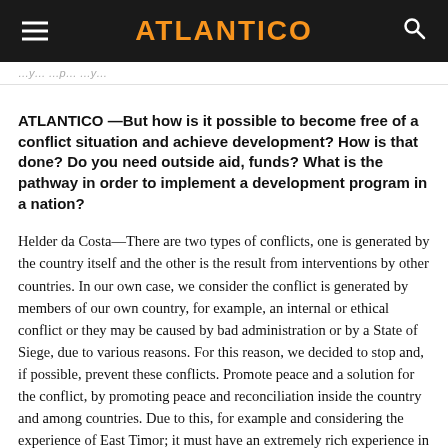ATLANTICO
ATLANTICO —But how is it possible to become free of a conflict situation and achieve development? How is that done? Do you need outside aid, funds? What is the pathway in order to implement a development program in a nation?
Helder da Costa—There are two types of conflicts, one is generated by the country itself and the other is the result from interventions by other countries. In our own case, we consider the conflict is generated by members of our own country, for example, an internal or ethical conflict or they may be caused by bad administration or by a State of Siege, due to various reasons. For this reason, we decided to stop and, if possible, prevent these conflicts. Promote peace and a solution for the conflict, by promoting peace and reconciliation inside the country and among countries. Due to this, for example and considering the experience of East Timor; it must have an extremely rich experience in terms of administrating the